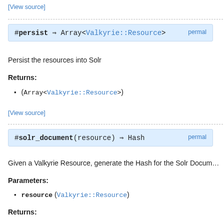[View source]
#persist ⇒ Array<Valkyrie::Resource>     permal…
Persist the resources into Solr
Returns:
(Array<Valkyrie::Resource>)
[View source]
#solr_document(resource) ⇒ Hash     permal…
Given a Valkyrie Resource, generate the Hash for the Solr Docum…
Parameters:
resource (Valkyrie::Resource)
Returns: